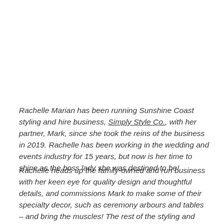Rachelle Marian has been running Sunshine Coast styling and hire business, Simply Style Co., with her partner, Mark, since she took the reins of the business in 2019. Rachelle has been working in the wedding and events industry for 15 years, but now is her time to shine as the boss lady she was destined to be!
Rachelle heads up the family-owned and run business with her keen eye for quality design and thoughtful details, and commissions Mark to make some of their specialty decor, such as ceremony arbours and tables – and bring the muscles! The rest of the styling and marketing team are super supportive. Rachelle says,